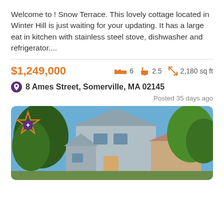Welcome to ! Snow Terrace. This lovely cottage located in Winter Hill is just waiting for your updating. It has a large eat in kitchen with stainless steel stove, dishwasher and refrigerator....
$1,249,000   6   2.5   2,180 sq ft
8 Ames Street, Somerville, MA 02145
Posted 35 days ago
[Figure (photo): Exterior photo of a light blue/grey two-story cottage house with trees in the background and blue sky]